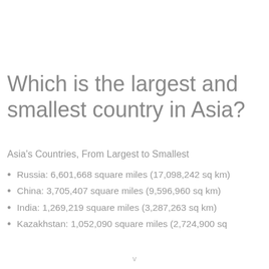Which is the largest and smallest country in Asia?
Asia's Countries, From Largest to Smallest
Russia: 6,601,668 square miles (17,098,242 sq km)
China: 3,705,407 square miles (9,596,960 sq km)
India: 1,269,219 square miles (3,287,263 sq km)
Kazakhstan: 1,052,090 square miles (2,724,900 sq